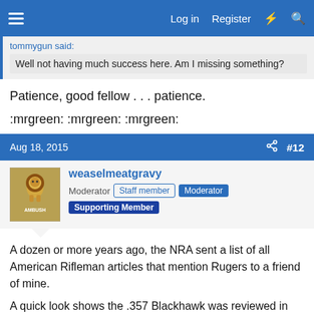Log in  Register
tommygun said:
Well not having much success here. Am I missing something?
Patience, good fellow . . . patience.
:mrgreen: :mrgreen: :mrgreen:
Aug 18, 2015  #12
weaselmeatgravy
Moderator  Staff member  Moderator  Supporting Member
A dozen or more years ago, the NRA sent a list of all American Rifleman articles that mention Rugers to a friend of mine.
A quick look shows the .357 Blackhawk was reviewed in the December, 1955 issue on page 23. The list also notes something in the March, 1957 issue on page 26.